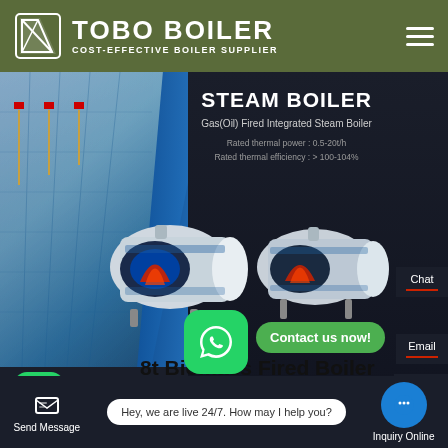[Figure (screenshot): TOBO BOILER website header with olive green background, white logo icon, bold white text 'TOBO BOILER' and subtitle 'COST-EFFECTIVE BOILER SUPPLIER', hamburger menu icon on right]
[Figure (screenshot): Hero banner showing industrial building with flagpoles on left, dark background on right with text 'STEAM BOILER', 'Gas(Oil) Fired Integrated Steam Boiler', rated thermal power and efficiency specs, two industrial boiler product images in center, Chat and Email side buttons on far right]
8t Biomass Fired Boiler Dealer
[Figure (screenshot): WhatsApp contact bubble (green rounded square icon) with 'Contact us now!' green pill button overlay, small WhatsApp icon bottom left, Contact button on right side]
Hey, we are live 24/7. How may I help you?
Send Message
Inquiry Online